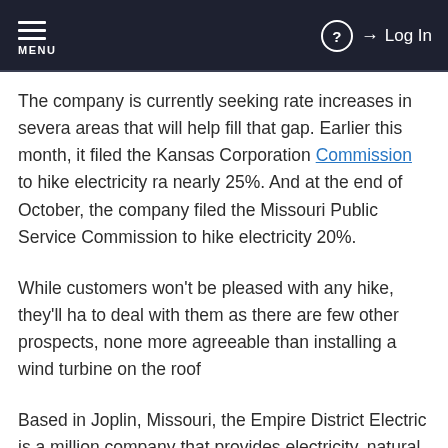MENU | ? | Log In
The company is currently seeking rate increases in several areas that will help fill that gap. Earlier this month, it filed the Kansas Corporation Commission to hike electricity rates nearly 25%. And at the end of October, the company filed the Missouri Public Service Commission to hike electricity 20%.
While customers won't be pleased with any hike, they'll have to deal with them as there are few other prospects, none more agreeable than installing a wind turbine on the roof
Based in Joplin, Missouri, the Empire District Electric is a million company that provides electricity, natural gas, or w some 215,000 customers in Missouri, Kansas, Oklahoma Its seven power plants can produce 1,255 megawatts of